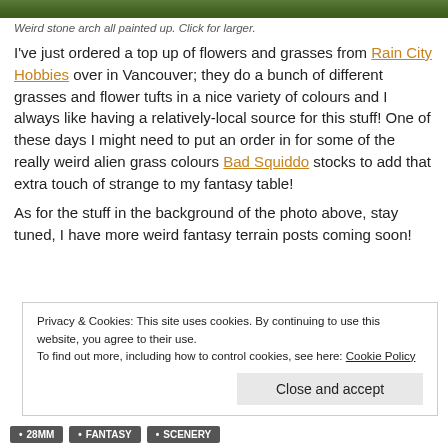[Figure (photo): Top strip showing green grass/foliage photo]
Weird stone arch all painted up. Click for larger.
I've just ordered a top up of flowers and grasses from Rain City Hobbies over in Vancouver; they do a bunch of different grasses and flower tufts in a nice variety of colours and I always like having a relatively-local source for this stuff! One of these days I might need to put an order in for some of the really weird alien grass colours Bad Squiddo stocks to add that extra touch of strange to my fantasy table!
As for the stuff in the background of the photo above, stay tuned, I have more weird fantasy terrain posts coming soon!
Privacy & Cookies: This site uses cookies. By continuing to use this website, you agree to their use. To find out more, including how to control cookies, see here: Cookie Policy
Close and accept
• 28MM
• FANTASY
• SCENERY